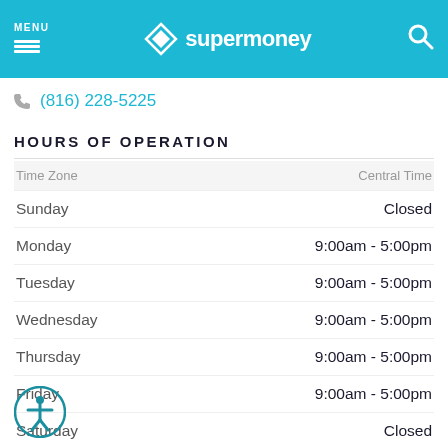MENU supermoney
(816) 228-5225
HOURS OF OPERATION
| Time Zone | Central Time |
| --- | --- |
| Sunday | Closed |
| Monday | 9:00am - 5:00pm |
| Tuesday | 9:00am - 5:00pm |
| Wednesday | 9:00am - 5:00pm |
| Thursday | 9:00am - 5:00pm |
| Friday | 9:00am - 5:00pm |
| Saturday | Closed |